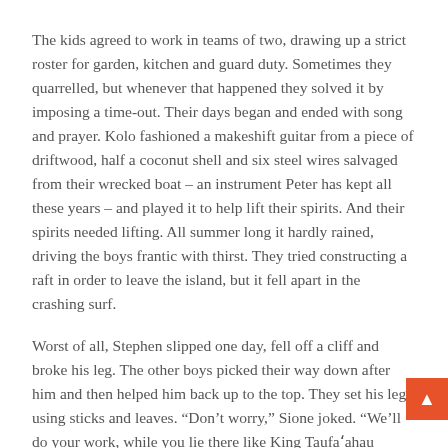The kids agreed to work in teams of two, drawing up a strict roster for garden, kitchen and guard duty. Sometimes they quarrelled, but whenever that happened they solved it by imposing a time-out. Their days began and ended with song and prayer. Kolo fashioned a makeshift guitar from a piece of driftwood, half a coconut shell and six steel wires salvaged from their wrecked boat – an instrument Peter has kept all these years – and played it to help lift their spirits. And their spirits needed lifting. All summer long it hardly rained, driving the boys frantic with thirst. They tried constructing a raft in order to leave the island, but it fell apart in the crashing surf.
Worst of all, Stephen slipped one day, fell off a cliff and broke his leg. The other boys picked their way down after him and then helped him back up to the top. They set his leg using sticks and leaves. “Don’t worry,” Sione joked. “We’ll do your work, while you lie there like King Taufa‘ahau Tupou himself!”